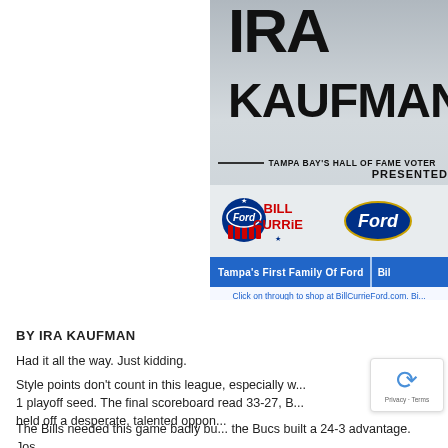[Figure (advertisement): Ira Kaufman Tampa Bay's Hall of Fame Voter banner, presented by Bill Currie Ford. Shows large bold text 'IRA KAUFMAN' on brushed metal background, with Bill Currie Ford logo and blue bar reading 'Tampa's First Family Of Ford'. Includes text: 'Click on through to shop at BillCurrieFord.com. Bi... ready to help you PERSONALLY and give you th...']
BY IRA KAUFMAN
Had it all the way. Just kidding.
Style points don't count in this league, especially when you're chasing a 1 playoff seed. The final scoreboard read 33-27, B... held off a desperate, talented oppon...
The Bills needed this game badly bu... the Bucs built a 24-3 advantage. Jos... Super Bowl, on the lam all over Raymond James...